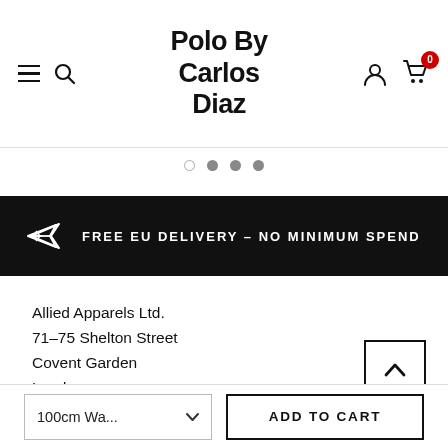Polo By Carlos Diaz
[Figure (infographic): Slider navigation dots: one open circle and three filled grey circles]
[Figure (infographic): Black banner with airplane icon and text: FREE EU DELIVERY – NO MINIMUM SPEND]
Allied Apparels Ltd.
71-75 Shelton Street
Covent Garden
London
[Figure (infographic): Scroll-to-top button: square with upward chevron arrow]
[Figure (infographic): Bottom action bar with size selector showing '100cm Wa...' and ADD TO CART button]